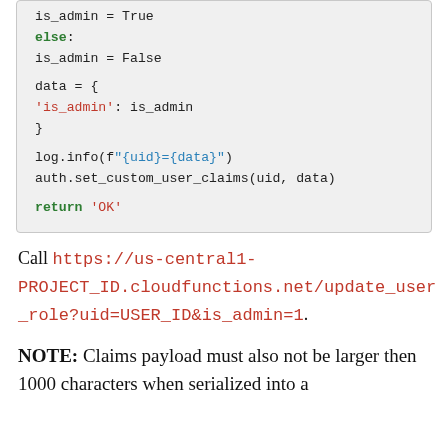[Figure (screenshot): Code block showing Python snippet with is_admin assignment, data dict, log.info and auth.set_custom_user_claims calls, and return 'OK']
Call https://us-central1-PROJECT_ID.cloudfunctions.net/update_user_role?uid=USER_ID&is_admin=1.
NOTE: Claims payload must also not be larger then 1000 characters when serialized into a